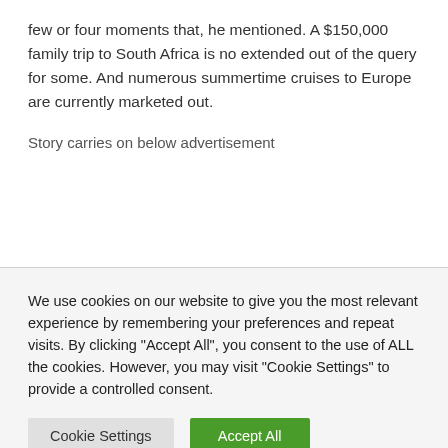few or four moments that, he mentioned. A $150,000 family trip to South Africa is no extended out of the query for some. And numerous summertime cruises to Europe are currently marketed out.
Story carries on below advertisement
We use cookies on our website to give you the most relevant experience by remembering your preferences and repeat visits. By clicking "Accept All", you consent to the use of ALL the cookies. However, you may visit "Cookie Settings" to provide a controlled consent.